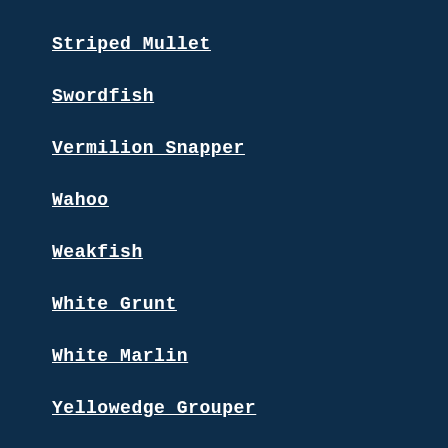Striped Mullet
Swordfish
Vermilion Snapper
Wahoo
Weakfish
White Grunt
White Marlin
Yellowedge Grouper